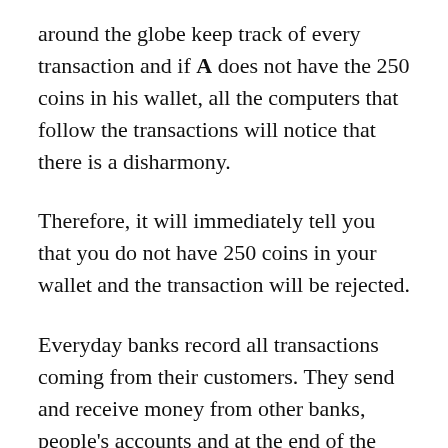around the globe keep track of every transaction and if A does not have the 250 coins in his wallet, all the computers that follow the transactions will notice that there is a disharmony.
Therefore, it will immediately tell you that you do not have 250 coins in your wallet and the transaction will be rejected.
Everyday banks record all transactions coming from their customers. They send and receive money from other banks, people's accounts and at the end of the day they have a tally of all the money that went out and came into customer accounts.